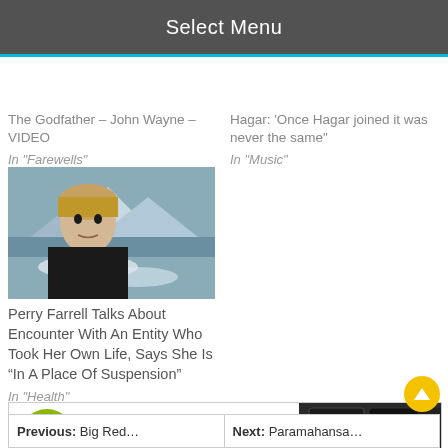Select Menu
The Godfather – John Wayne – VIDEO
In "Farewells"
Hagar: Once Hagar joined it was never the same"
In "Music"
[Figure (photo): Young man with blond hair outdoors near a waterfall and mountains]
Perry Farrell Talks About Encounter With An Entity Who Took Her Own Life, Says She Is “In A Place Of Suspension”
In "Health"
[Figure (other): Fibits advertisement banner: Fashion & Music from the '70s, '80s & '90s - Old School · Retro · Vintage]
Previous: Big Red…
Next: Paramahansa…